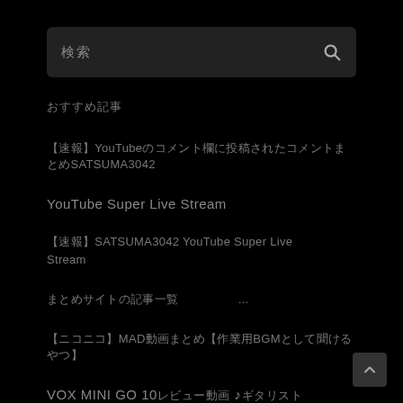検索 🔍
おすすめ記事
【速報】YouTubeのコメント欄に投稿されたコメントまとめSATSUMA3042
YouTube Super Live Stream
【速報】SATSUMA3042 YouTube Super Live Stream
まとめサイトの記事一覧　　　　　...
【ニコニコ】MAD動画まとめ【作業用BGMとして聞けるやつ】
VOX MINI GO 10レビュー動画 ♪ギタリストの弾いてみた